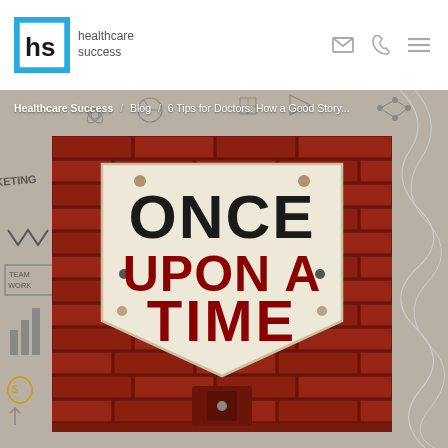[Figure (logo): Healthcare Success logo: hs in a blue-bordered box, with 'healthcare success' text beside it, and nav icons (email, phone, menu) on the right]
Healthcare Success / Blog / 6 Tips for Doctors: How a Good Story...
[Figure (photo): A rusty vintage road sign shaped like a downward-pointing chevron reading 'ONCE UPON A TIME' in black and red lettering, mounted on a red brick wall, surrounded by a doodle/sketch background with marketing-themed illustrations]